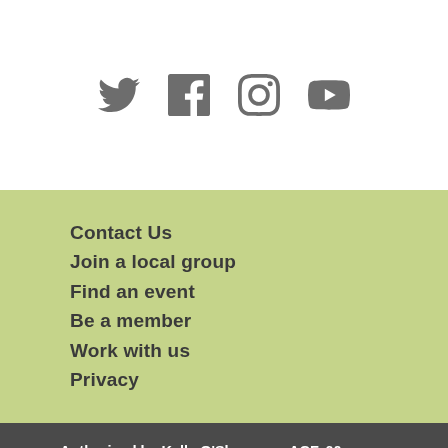[Figure (illustration): Row of four social media icons: Twitter bird, Facebook F, Instagram camera, YouTube play button — all in grey.]
Contact Us
Join a local group
Find an event
Be a member
Work with us
Privacy
Authorised by Kelly O'Shanassy, ACF, 60 Leicester St Carlton 3053.
We acknowledge the Traditional Owners of Country and their continuing connection to land, waters and community. We are committed to